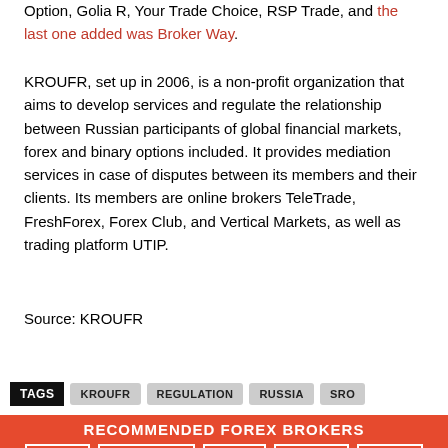Option, Golia R, Your Trade Choice, RSP Trade, and the last one added was Broker Way.
KROUFR, set up in 2006, is a non-profit organization that aims to develop services and regulate the relationship between Russian participants of global financial markets, forex and binary options included. It provides mediation services in case of disputes between its members and their clients. Its members are online brokers TeleTrade, FreshForex, Forex Club, and Vertical Markets, as well as trading platform UTIP.
Source: KROUFR
TAGS
KROUFR
REGULATION
RUSSIA
SRO
RECOMMENDED FOREX BROKERS
FPM
XM.COM
FBS
FXTM
HFM